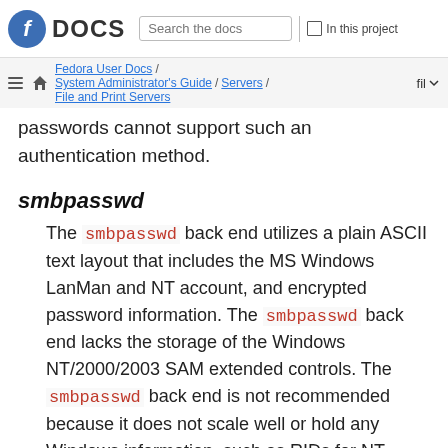Fedora DOCS | Search the docs | In this project | Fedora User Docs / System Administrator's Guide / Servers / File and Print Servers | fil
passwords cannot support such an authentication method.
smbpasswd
The smbpasswd back end utilizes a plain ASCII text layout that includes the MS Windows LanMan and NT account, and encrypted password information. The smbpasswd back end lacks the storage of the Windows NT/2000/2003 SAM extended controls. The smbpasswd back end is not recommended because it does not scale well or hold any Windows information, such as RIDs for NT-based